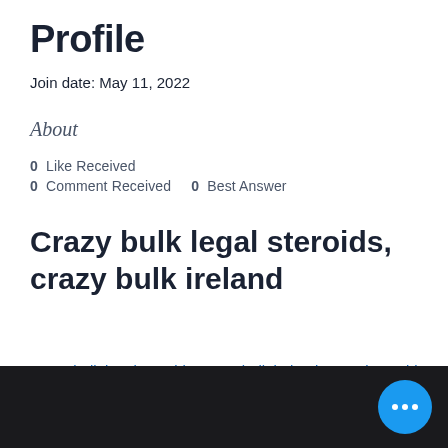Profile
Join date: May 11, 2022
About
0 Like Received
0 Comment Received    0 Best Answer
Crazy bulk legal steroids, crazy bulk ireland
Crazy bulk legal steroids, crazy bulk ireland - Legal steroids for sale
[Figure (photo): Dark blurred image at the bottom of the page]